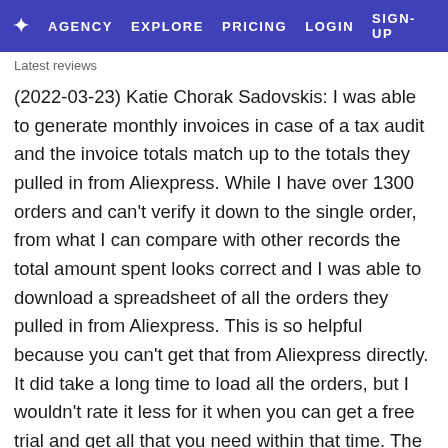★ AGENCY   EXPLORE   PRICING   LOGIN   SIGN-UP
Latest reviews
(2022-03-23) Katie Chorak Sadovskis: I was able to generate monthly invoices in case of a tax audit and the invoice totals match up to the totals they pulled in from Aliexpress. While I have over 1300 orders and can't verify it down to the single order, from what I can compare with other records the total amount spent looks correct and I was able to download a spreadsheet of all the orders they pulled in from Aliexpress. This is so helpful because you can't get that from Aliexpress directly. It did take a long time to load all the orders, but I wouldn't rate it less for it when you can get a free trial and get all that you need within that time. The app kinda takes over the screen and you can see it going order by order pulling it in. You can't use your device really during that time and with over 1k